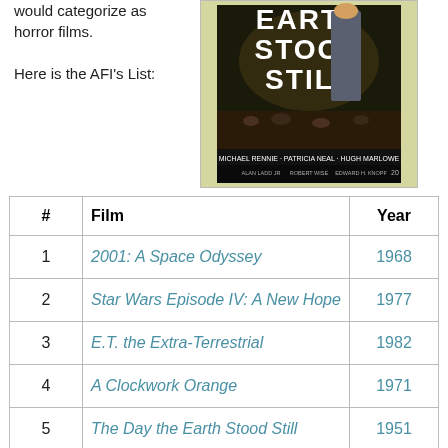would categorize as horror films.

Here is the AFI's List:
[Figure (photo): Movie poster for 'The Day the Earth Stood Still' featuring the title in large letters, a woman figure, and credits including Michael Rennie, Patricia Neal, Hugh Marlowe]
| # | Film | Year |
| --- | --- | --- |
| 1 | 2001: A Space Odyssey | 1968 |
| 2 | Star Wars Episode IV: A New Hope | 1977 |
| 3 | E.T. the Extra-Terrestrial | 1982 |
| 4 | A Clockwork Orange | 1971 |
| 5 | The Day the Earth Stood Still | 1951 |
| 6 | Blade Runner | 1982 |